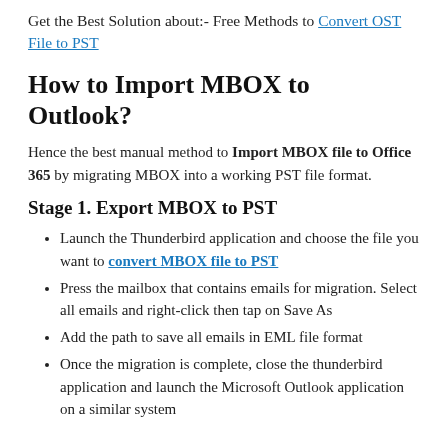Get the Best Solution about:- Free Methods to Convert OST File to PST
How to Import MBOX to Outlook?
Hence the best manual method to Import MBOX file to Office 365 by migrating MBOX into a working PST file format.
Stage 1. Export MBOX to PST
Launch the Thunderbird application and choose the file you want to convert MBOX file to PST
Press the mailbox that contains emails for migration. Select all emails and right-click then tap on Save As
Add the path to save all emails in EML file format
Once the migration is complete, close the thunderbird application and launch the Microsoft Outlook application on a similar system